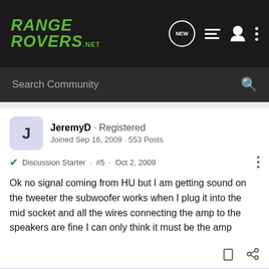RANGE ROVERS .NET
Search Community
JeremyD · Registered
Joined Sep 16, 2009 · 553 Posts
Discussion Starter · #5 · Oct 2, 2009
Ok no signal coming from HU but I am getting sound on the tweeter the subwoofer works when I plug it into the mid socket and all the wires connecting the amp to the speakers are fine I can only think it must be the amp
viperover · Registered